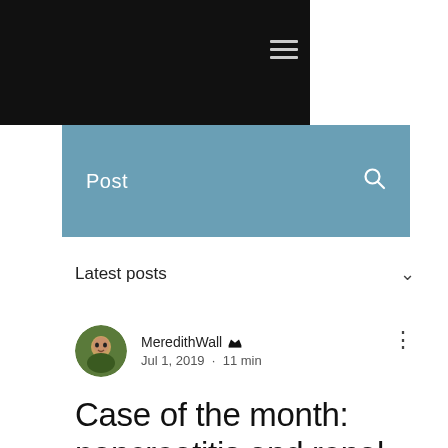Post
Latest posts
MeredithWall  Jul 1, 2019 · 11 min
Case of the month: pancreatitis and renal disease in a Dachshund two recipes
Updated: Mar 4
This month I wanted to talk about